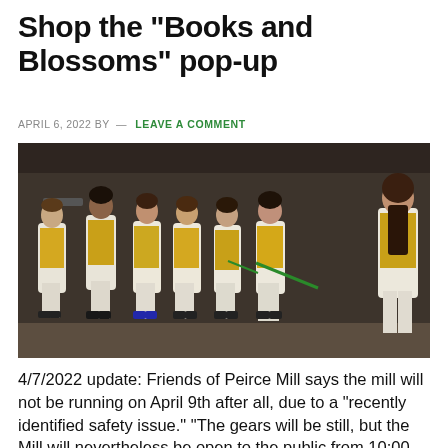Shop the “Books and Blossoms” pop-up
APRIL 6, 2022 BY — LEAVE A COMMENT
[Figure (photo): Group of people in white pants and yellow vests standing inside what appears to be a mill building]
4/7/2022 update: Friends of Peirce Mill says the mill will not be running on April 9th after all, due to a “recently identified safety issue.” “The gears will be still, but the Mill will nevertheless be open to the public from 10:00 a.m. to 4:00 p.m. with volunteers and park rangers on hand